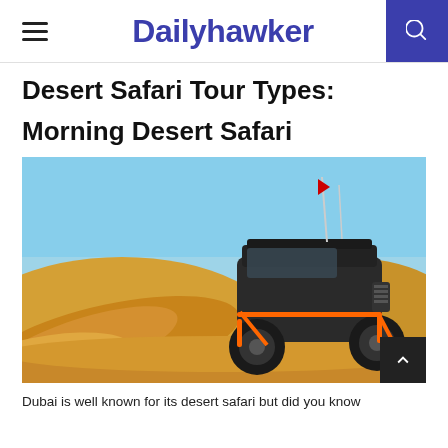Dailyhawker
Desert Safari Tour Types:
Morning Desert Safari
[Figure (photo): A dune buggy / off-road UTV kicking up sand in a desert landscape under a clear blue sky, with orange-framed suspension and two antennas with a red flag.]
Dubai is well known for its desert safari but did you know